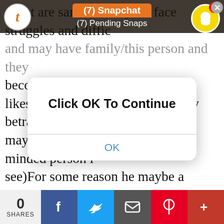e rest are same country.He face struggles and difficulties and may have family/this person and they become... likes to support his friends but they betray him.He may have a new business(business minded person i see)For some reason he maybe a wealthy person or financially stable.Likes to do some errands like giving you sweet messages.Can be cocky sometimes.He likes to playgrounds and Badminton.Likes old music/songs or vice versa.He have masculine body/aura.He works in overseas/hospital and likes to watch the sunset/dawn.He likes to wear cap/hat and shorts.He likes pet and might own a cat that is color black.He likes/want to travel and explore the world.He likes to take down notes and likes to fix his scheduled.Soul mates energy here.You and your FS might have twins(girl) or will adopt, both will elope n the wedding wi
[Figure (screenshot): Snapchat notification bar showing '(7) Snapchat' in orange and '(7) Pending Snaps' in white text on dark background, with Tumblr icon on left and Snapchat ghost icon with red badge showing '1' on right, and close button]
[Figure (screenshot): Modal dialog overlay with rounded white card showing 'Click OK To Continue' in bold black text and 'OK' button in blue text below a divider line]
[Figure (screenshot): Bottom social sharing bar showing '0 SHARES', Facebook (blue), Twitter (light blue), Email (dark grey), Pinterest (red), and More (dark red) buttons]